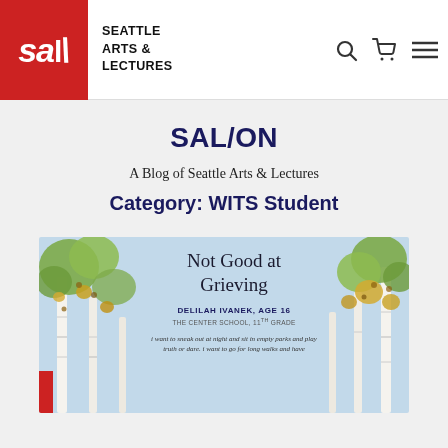SAL — Seattle Arts & Lectures
SAL/ON
A Blog of Seattle Arts & Lectures
Category: WITS Student
[Figure (illustration): Book cover illustration for 'Not Good at Grieving' by Delilah Ivanek, Age 16, The Center School, 11th Grade. Features birch trees with green and golden leaves on left and right sides against a light blue background. Text reads: 'i want to sneak out at night and sit in empty parks and play truth or dare. i want to go for long walks and have']